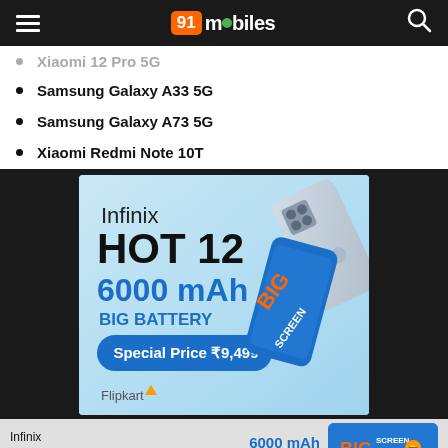91mobiles
Xiaomi 12 Pro 5G
Samsung Galaxy A33 5G
Samsung Galaxy A73 5G
Xiaomi Redmi Note 10T
[Figure (photo): Infinix HOT 12 advertisement banner showing phone with 6000 mAh Big Battery and Special Price 9,499 on Flipkart]
[Figure (photo): Infinix HOT 12 bottom ad strip showing 6000 mAh Big Battery with BIG SCREEN text]